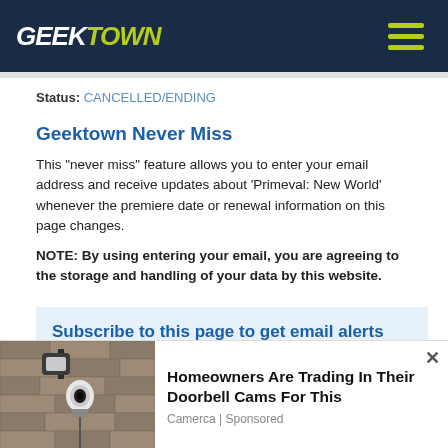GEEKTOWN
Status: CANCELLED/ENDING
Geektown Never Miss
This "never miss" feature allows you to enter your email address and receive updates about 'Primeval: New World' whenever the premiere date or renewal information on this page changes.
NOTE: By using entering your email, you are agreeing to the storage and handling of your data by this website.
Subscribe to this page to get email alerts when it is updated!
[Figure (photo): Advertisement showing a doorbell camera mounted on a wall]
Homeowners Are Trading In Their Doorbell Cams For This
Camerca | Sponsored